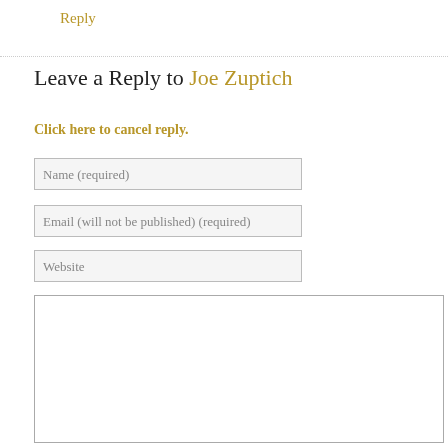Reply
Leave a Reply to Joe Zuptich
Click here to cancel reply.
Name (required)
Email (will not be published) (required)
Website